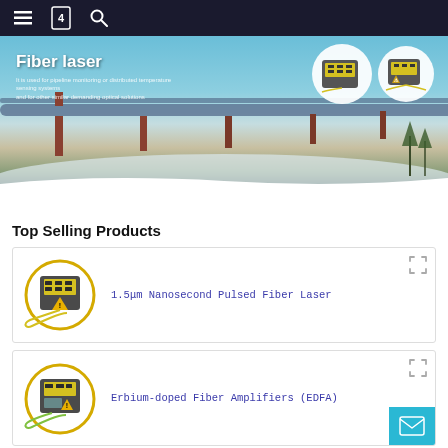Navigation bar with menu, logo, and search icons
[Figure (photo): Hero banner showing fiber laser products overlaid on a winter pipeline landscape. Title reads 'Fiber laser' with subtitle text about pipeline monitoring.]
Top Selling Products
[Figure (photo): Product card image: 1.5μm Nanosecond Pulsed Fiber Laser device - grey box with yellow display and fiber cable]
1.5μm Nanosecond Pulsed Fiber Laser
[Figure (photo): Product card image: Erbium-doped Fiber Amplifiers (EDFA) device - grey box with yellow display and green fiber cable]
Erbium-doped Fiber Amplifiers (EDFA)